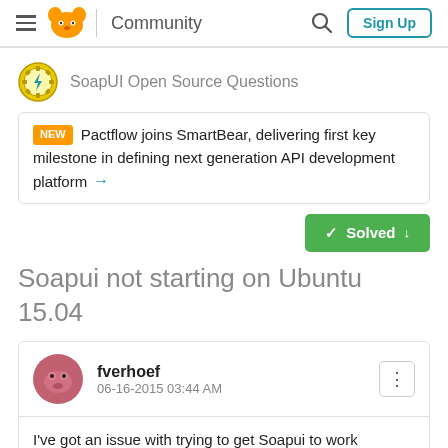Community  Sign Up
SoapUI Open Source Questions
NEW  Pactflow joins SmartBear, delivering first key milestone in defining next generation API development platform →
✓ Solved ↓
Soapui not starting on Ubuntu 15.04
fverhoef
06-16-2015 03:44 AM
I've got an issue with trying to get Soapui to work